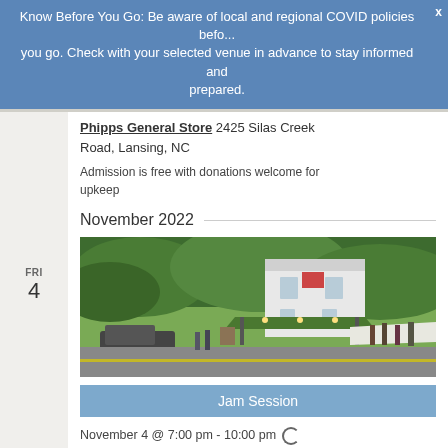Know Before You Go: Be aware of local and regional COVID policies before you go. Check with your selected venue in advance to stay informed and prepared.
Phipps General Store 2425 Silas Creek Road, Lansing, NC
Admission is free with donations welcome for upkeep
November 2022
FRI 4
[Figure (photo): Exterior photo of Phipps General Store, a white brick building with green roof canopy, jeep parked outside, people gathered near the entrance, surrounded by trees and hills in background.]
Jam Session
November 4 @ 7:00 pm - 10:00 pm